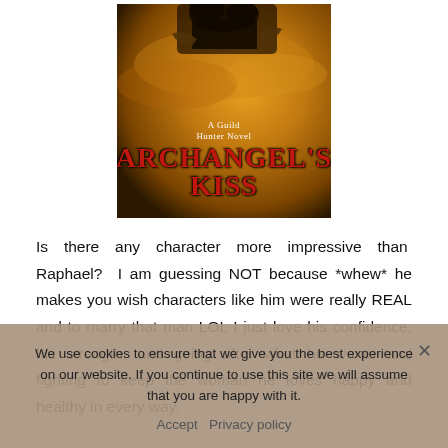[Figure (illustration): Book cover for 'Archangel's Kiss', a Guild Hunter Novel. Dark fantasy cover with red stylized title text on a warm golden-orange sky background with dramatic cloudy atmosphere.]
Is there any character more impressive than Raphael? I am guessing NOT because *whew* he makes you wish characters like him were really REAL and to marry that man LOL I just love his confidence, his strength, and going after what he wants and fighting to keep the woman he loves happy and healthy in every way.
We use cookies to ensure that we give you the best experience on our website. If you continue to use this site we will assume that you are happy with it.
Accept  Privacy policy